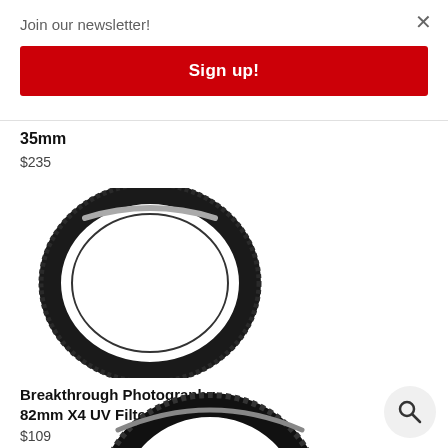Join our newsletter!
Sign up!
35mm
$235
[Figure (photo): Camera lens UV filter ring, circular black metal frame with knurled edge, transparent glass center, viewed from front]
Breakthrough Photography 82mm X4 UV Filter
$109
[Figure (photo): Second camera lens UV filter, larger black ring, partial view at bottom of page]
[Figure (other): Search icon button, magnifying glass in circular grey button]